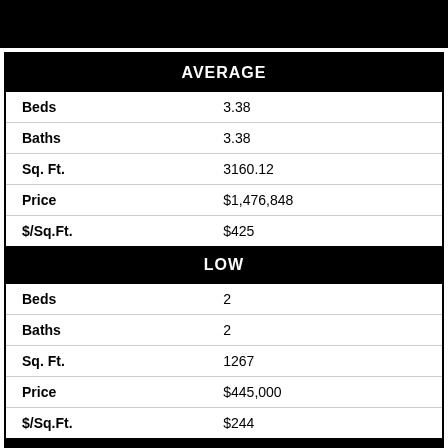|  | AVERAGE |
| --- | --- |
| Beds | 3.38 |
| Baths | 3.38 |
| Sq. Ft. | 3160.12 |
| Price | $1,476,848 |
| $/Sq.Ft. | $425 |
|  | LOW |
| --- | --- |
| Beds | 2 |
| Baths | 2 |
| Sq. Ft. | 1267 |
| Price | $445,000 |
| $/Sq.Ft. | $244 |
|  | HIGH |
| --- | --- |
| Beds | 6 |